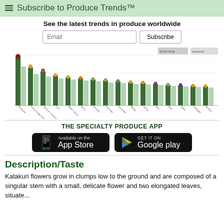Subscribe to Produce Trends™
See the latest trends in produce worldwide
[Figure (bar-chart): Bar chart showing produce trend rankings for various items, with alternating dark green and light green bars topped with small produce images. Approximately 25+ categories shown along x-axis with declining bar heights from left to right.]
THE SPECIALTY PRODUCE APP
[Figure (infographic): Two app store download buttons side by side: 'Available on the App Store' (Apple) and 'GET IT ON Google play' (Android), both on black backgrounds.]
Description/Taste
Katakuri flowers grow in clumps low to the ground and are composed of a singular stem with a small, delicate flower and two elongated leaves, situate...